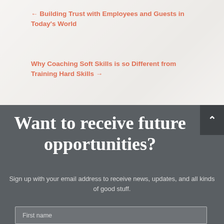← Building Trust with Employees and Guests in Today's World
Why Coaching Soft Skills is so Different from Training Hard Skills →
Want to receive future opportunities?
Sign up with your email address to receive news, updates, and all kinds of good stuff.
First name